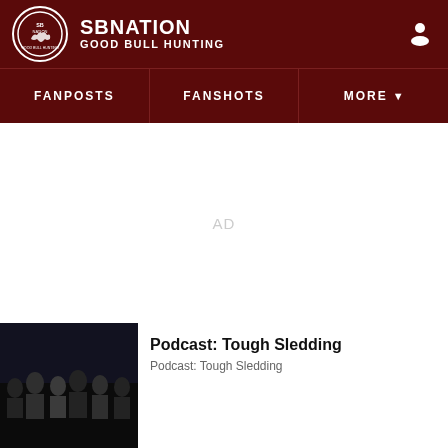SBNATION GOOD BULL HUNTING
FANPOSTS
FANSHOTS
MORE
AD
Podcast: Tough Sledding